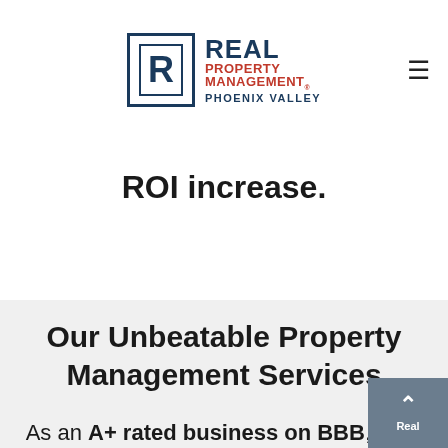[Figure (logo): Real Property Management Phoenix Valley logo with R icon in blue box, red text PROPERTY MANAGEMENT, blue text PHOENIX VALLEY, and hamburger menu icon]
ROI increase.
Our Unbeatable Property Management Services
As an A+ rated business on BBB, Real